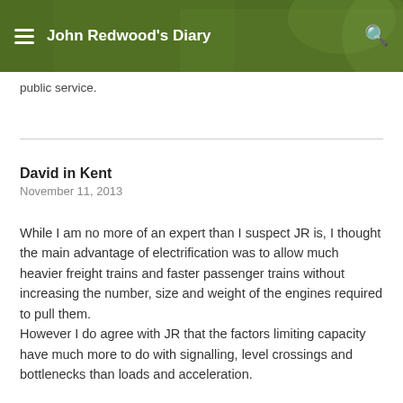John Redwood's Diary
public service.
David in Kent
November 11, 2013
While I am no more of an expert than I suspect JR is, I thought the main advantage of electrification was to allow much heavier freight trains and faster passenger trains without increasing the number, size and weight of the engines required to pull them.
However I do agree with JR that the factors limiting capacity have much more to do with signalling, level crossings and bottlenecks than loads and acceleration.